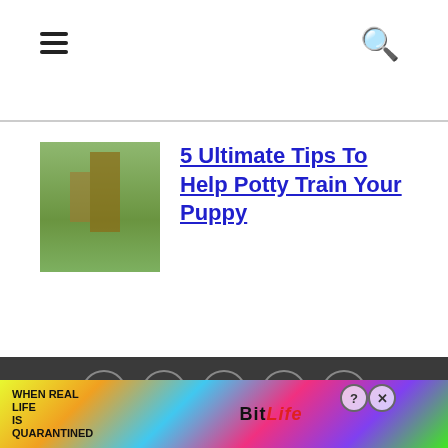Navigation header with hamburger menu and search icon
[Figure (photo): Dog performing agility exercise outdoors on grass with wooden obstacles]
5 Ultimate Tips To Help Potty Train Your Puppy
[Figure (other): Social media icon links: Facebook, Twitter, Instagram, Pinterest, YouTube in circular outlines on dark background]
[Figure (infographic): Advertisement banner: WHEN REAL LIFE IS QUARANTINED - BitLife game ad with colorful background and emoji characters]